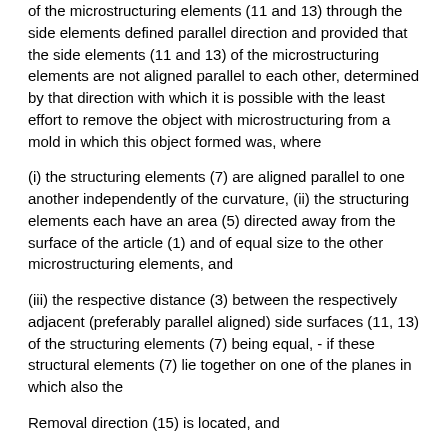of the microstructuring elements (11 and 13) through the side elements defined parallel direction and provided that the side elements (11 and 13) of the microstructuring elements are not aligned parallel to each other, determined by that direction with which it is possible with the least effort to remove the object with microstructuring from a mold in which this object formed was, where
(i) the structuring elements (7) are aligned parallel to one another independently of the curvature, (ii) the structuring elements each have an area (5) directed away from the surface of the article (1) and of equal size to the other microstructuring elements, and
(iii) the respective distance (3) between the respectively adjacent (preferably parallel aligned) side surfaces (11, 13) of the structuring elements (7) being equal, - if these structural elements (7) lie together on one of the planes in which also the
Removal direction (15) is located, and
the distance (3) is measured on a straight line which runs in each case parallel to the tangent (8) which bears against the center of the line (6) between the respective structuring elements (7) and where the tangent (8) and the running one parallel thereto Just on